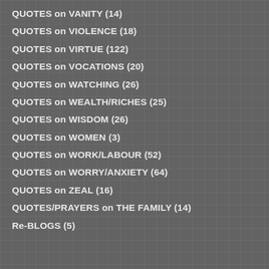QUOTES on VANITY (14)
QUOTES on VIOLENCE (18)
QUOTES on VIRTUE (122)
QUOTES on VOCATIONS (20)
QUOTES on WATCHING (26)
QUOTES on WEALTH/RICHES (25)
QUOTES on WISDOM (26)
QUOTES on WOMEN (3)
QUOTES on WORK/LABOUR (52)
QUOTES on WORRY/ANXIETY (64)
QUOTES on ZEAL (16)
QUOTES/PRAYERS on THE FAMILY (14)
Re-BLOGS (5)